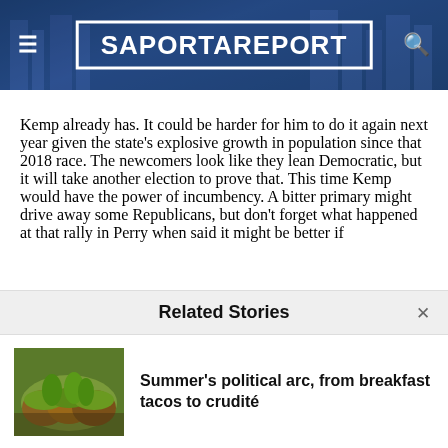SaportaReport
Kemp already has. It could be harder for him to do it again next year given the state's explosive growth in population since that 2018 race. The newcomers look like they lean Democratic, but it will take another election to prove that. This time Kemp would have the power of incumbency. A bitter primary might drive away some Republicans, but don't forget what happened at that rally in Perry when said it might be better if
Related Stories
[Figure (photo): Photo of tacos/food]
Summer's political arc, from breakfast tacos to crudité